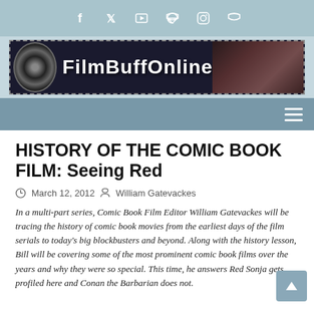Social media icons: Facebook, Twitter, YouTube, RSS, Instagram, RSS
[Figure (logo): FilmBuffOnline website logo with film reel graphic and site name on dark filmstrip background]
Navigation bar with hamburger menu icon
HISTORY OF THE COMIC BOOK FILM: Seeing Red
March 12, 2012  William Gatevackes
In a multi-part series, Comic Book Film Editor William Gatevackes will be tracing the history of comic book movies from the earliest days of the film serials to today's big blockbusters and beyond. Along with the history lesson, Bill will be covering some of the most prominent comic book films over the years and why they were so special. This time, he answers Red Sonja gets profiled here and Conan the Barbarian does not.